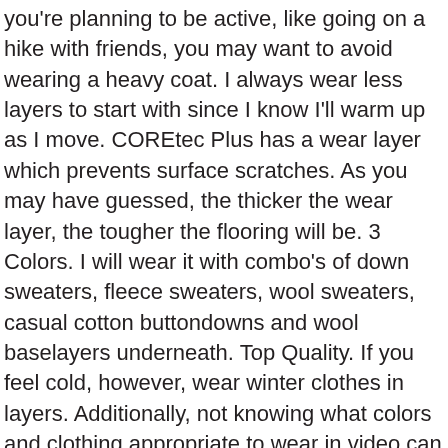you're planning to be active, like going on a hike with friends, you may want to avoid wearing a heavy coat. I always wear less layers to start with since I know I'll warm up as I move. COREtec Plus has a wear layer which prevents surface scratches. As you may have guessed, the thicker the wear layer, the tougher the flooring will be. 3 Colors. I will wear it with combo's of down sweaters, fleece sweaters, wool sweaters, casual cotton buttondowns and wool baselayers underneath. Top Quality. If you feel cold, however, wear winter clothes in layers. Additionally, not knowing what colors and clothing appropriate to wear in video can add further anxiety. Wear a long coat to narrow down your silhouette. The classic layering system consists of a base layer, mid layer and outer layers. I've got details on each of those layers below. Snowshoeing near Squamish . Learn more about the Thermodynamic processes that allow you to get cold. If I want leg covering, I buy thigh-high stockings. Base Layers for Winter